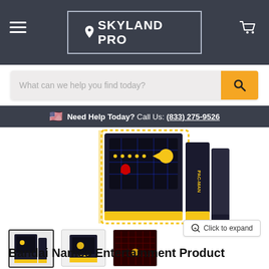SKYLAND PRO
What can we help you find today?
Need Help Today? Call Us: (833) 275-9526
[Figure (photo): Bandai Namco PAC-MAN arcade machine product photo showing the cabinet from a 3/4 angle with yellow PAC-MAN graphics]
[Figure (photo): Thumbnail 1: PAC-MAN arcade cabinet side view]
[Figure (photo): Thumbnail 2: PAC-MAN arcade cabinet front view]
[Figure (photo): Thumbnail 3: PAC-MAN arcade game screen view]
Bandai Namco Entertainment Product World's Largest Pac-man Arcade